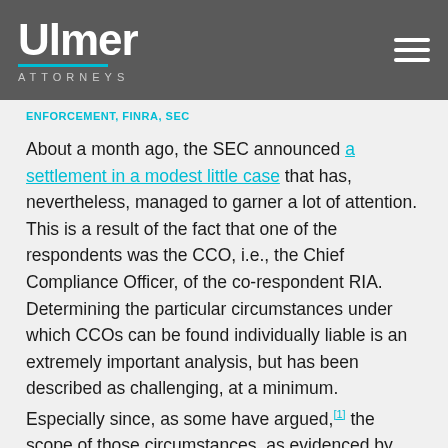Ulmer ATTORNEYS
ENFORCEMENT, FINRA, SEC
About a month ago, the SEC announced a settlement in a modest little case that has, nevertheless, managed to garner a lot of attention. This is a result of the fact that one of the respondents was the CCO, i.e., the Chief Compliance Officer, of the co-respondent RIA. Determining the particular circumstances under which CCOs can be found individually liable is an extremely important analysis, but has been described as challenging, at a minimum.  Especially since, as some have argued,[1] the scope of those circumstances, as evidenced by enforcement